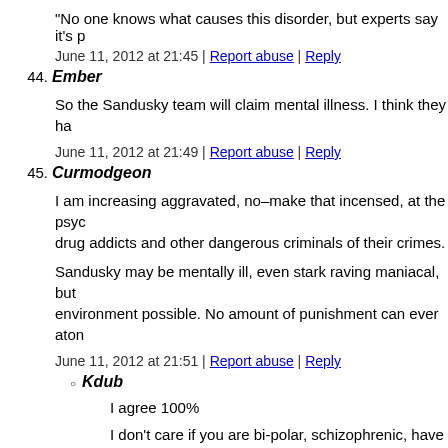"No one knows what causes this disorder, but experts say it's p
June 11, 2012 at 21:45 | Report abuse | Reply
44. Ember
So the Sandusky team will claim mental illness. I think they ha
June 11, 2012 at 21:49 | Report abuse | Reply
45. Curmodgeon
I am increasing aggravated, no–make that incensed, at the psyc drug addicts and other dangerous criminals of their crimes.
Sandusky may be mentally ill, even stark raving maniacal, but environment possible. No amount of punishment can ever aton
June 11, 2012 at 21:51 | Report abuse | Reply
Kdub
I agree 100%
I don't care if you are bi-polar, schizophrenic, have PTSH schizophrenic-PTSD-having-azz to prison.
June 14, 2012 at 14:30 | Report abuse |